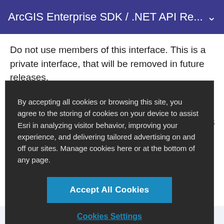ArcGIS Enterprise SDK / .NET API Re...
Do not use members of this interface. This is a private interface, that will be removed in future releases.
[Figure (screenshot): Cookie consent overlay with dark background containing text about cookie usage policy, an 'Accept All Cookies' blue button, and a 'Cookies Settings' link]
public void InitGlobeCompression (